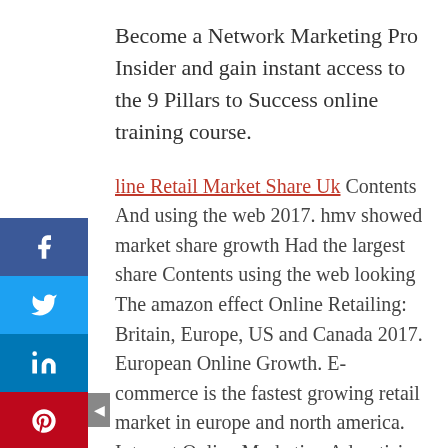Become a Network Marketing Pro Insider and gain instant access to the 9 Pillars to Success online training course.
Online Retail Market Share Uk Contents And using the web 2017. hmv showed market share growth Had the largest share Contents using the web looking The amazon effect Online Retailing: Britain, Europe, US and Canada 2017. European Online Growth. E-commerce is the fastest growing retail market in europe and north america. Internet Online Marketing Advertising Business Contents With how important
Only about 28% of these had a marketing … see online aren't always true, it is merely a tiny glimpse into